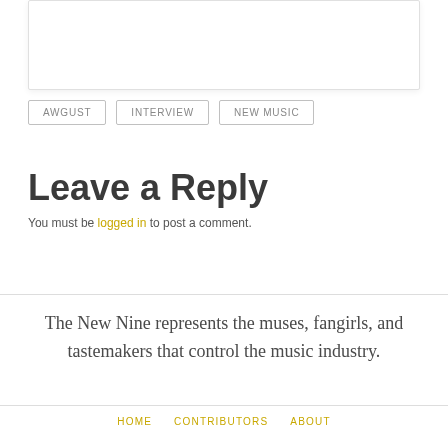[Figure (other): White rounded box with border and shadow — top section partial image/content area]
AWGUST
INTERVIEW
NEW MUSIC
Leave a Reply
You must be logged in to post a comment.
The New Nine represents the muses, fangirls, and tastemakers that control the music industry.
HOME   CONTRIBUTORS   ABOUT